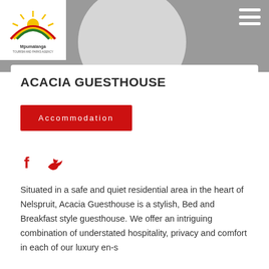[Figure (logo): Mpumalanga Tourism and Parks Agency logo with rainbow arc and sun]
ACACIA GUESTHOUSE
Accommodation
[Figure (illustration): Facebook and Twitter social media icons in red]
Situated in a safe and quiet residential area in the heart of Nelspruit, Acacia Guesthouse is a stylish, Bed and Breakfast style guesthouse. We offer an intriguing combination of understated hospitality, privacy and comfort in each of our luxury en-s